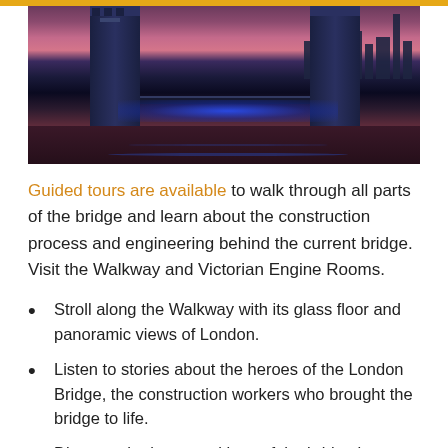[Figure (photo): Nighttime photo of Tower Bridge in London illuminated with blue lights, reflecting on the Thames River, with the city skyline visible in the background under a purple-pink sky.]
Guided tours are available to walk through all parts of the bridge and learn about the construction process and engineering behind the current bridge. Visit the Walkway and Victorian Engine Rooms.
Stroll along the Walkway with its glass floor and panoramic views of London.
Listen to stories about the heroes of the London Bridge, the construction workers who brought the bridge to life.
Discover the inner workings of the bridge by learning how the mechanisms work in the